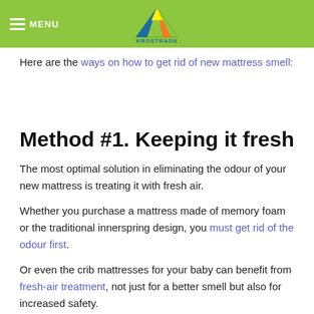MENU | KROSTRADE
Here are the ways on how to get rid of new mattress smell:
Method #1. Keeping it fresh
The most optimal solution in eliminating the odour of your new mattress is treating it with fresh air.
Whether you purchase a mattress made of memory foam or the traditional innerspring design, you must get rid of the odour first.
Or even the crib mattresses for your baby can benefit from fresh-air treatment, not just for a better smell but also for increased safety.